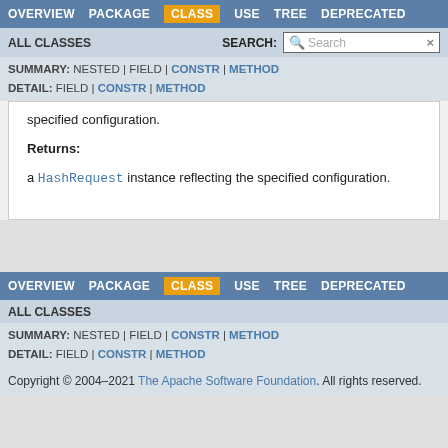OVERVIEW | PACKAGE | CLASS | USE | TREE | DEPRECATED
ALL CLASSES | SEARCH: [Search]
SUMMARY: NESTED | FIELD | CONSTR | METHOD
DETAIL: FIELD | CONSTR | METHOD
specified configuration.
Returns:
a HashRequest instance reflecting the specified configuration.
OVERVIEW | PACKAGE | CLASS | USE | TREE | DEPRECATED
ALL CLASSES
SUMMARY: NESTED | FIELD | CONSTR | METHOD
DETAIL: FIELD | CONSTR | METHOD
Copyright © 2004–2021 The Apache Software Foundation. All rights reserved.